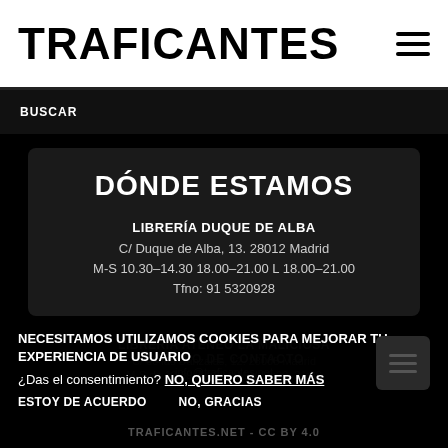TRAFICANTES
BUSCAR
DÓNDE ESTAMOS
LIBRERÍA DUQUE DE ALBA
C/ Duque de Alba, 13. 28012 Madrid
M-S 10.30-14.30 18.00-21.00 L 18.00-21.00
Tfno: 91 5320928
LIBRERÍA ATENEO LA MALICIOSA
C/ de las Danzalas, 12. 28005 Madrid
M-S de 10:30-14:30 y M-V 18:00-21:00
NECESITAMOS UTILIZAMOS COOKIES PARA MEJORAR TU EXPERIENCIA DE USUARIO
¿Das el consentimiento? NO, QUIERO SABER MÁS
ESTOY DE ACUERDO    NO, GRACIAS
CORREO DE CONTACTO
info@traficantes.net
TRAFICANTES.NET - CC BY 4.0